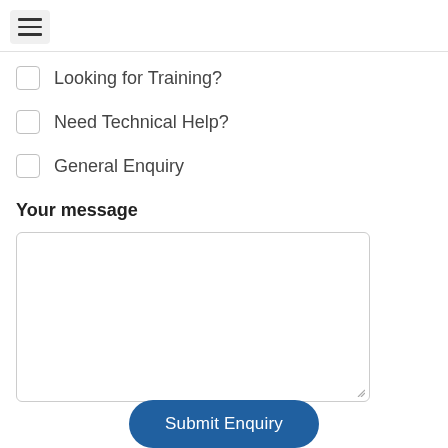[Figure (screenshot): Hamburger menu icon button in top-left corner]
Looking for Training?
Need Technical Help?
General Enquiry
Your message
[Figure (screenshot): Empty textarea input field for message]
Submit Enquiry